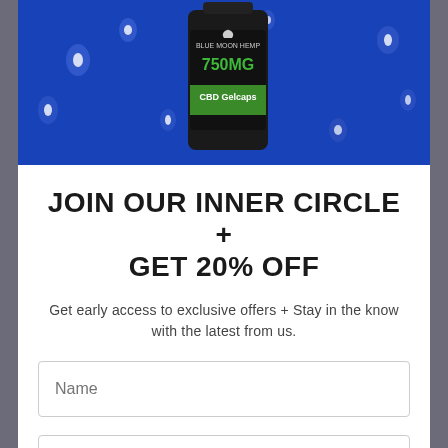[Figure (photo): A bottle of 750MG CBD Gelcaps by Blue Moon Hemp on a blue background with water droplets]
JOIN OUR INNER CIRCLE + GET 20% OFF
Get early access to exclusive offers + Stay in the know with the latest from us.
Name (input field)
Email (input field)
JOIN THE LIST